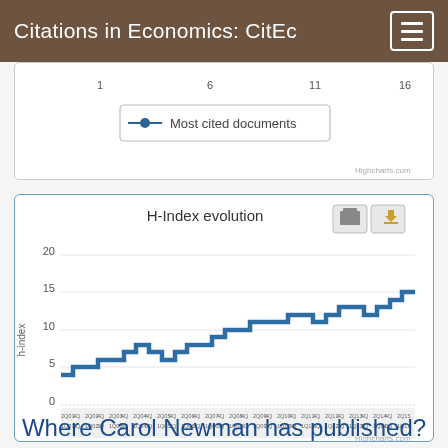Citations in Economics: CitEc
[Figure (line-chart): Top portion of a line chart showing most cited documents with x-axis values 1, 6, 11, 16]
[Figure (line-chart): Step-line chart showing H-Index evolution over years. Y-axis: 0, 5, 10, 15, 20. The line starts around 4, rises in steps to about 15-16.]
Where Carol Newman has published?